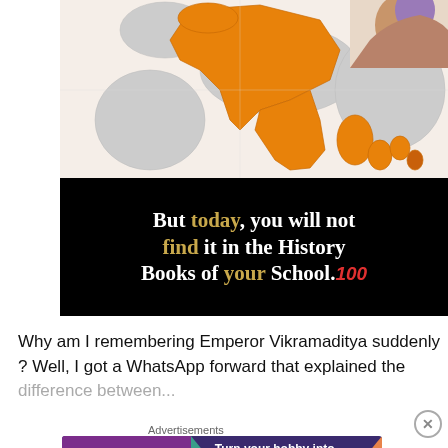[Figure (map): A historical map showing regions of Asia, Middle East, and Africa with certain territories highlighted in orange, likely indicating the extent of Emperor Vikramaditya's empire. Gray regions show surrounding territories. A small illustrated figure appears in the top-right corner.]
[Figure (infographic): Black banner with large white and gold text reading: 'But today, you will not find it in the History Books of your School.' with a 100-emoji in red italic at the end.]
Why am I remembering Emperor Vikramaditya suddenly ? Well, I got a WhatsApp forward that explained the difference between...
Advertisements
[Figure (infographic): WooCommerce advertisement banner on dark purple background with teal and orange triangles. Text reads: 'Turn your hobby into a business in 8 steps']